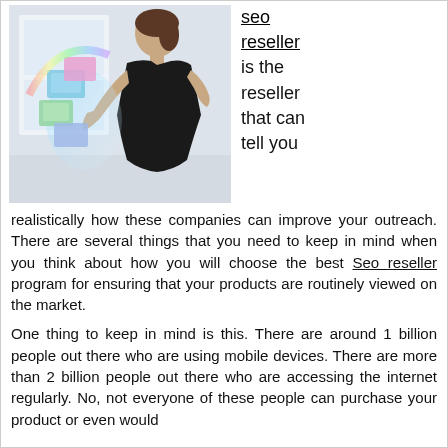[Figure (photo): Woman in black dress viewed from behind, holding a glowing tablet device with colorful floating media images around it, in a bright modern interior setting.]
seo reseller is the reseller that can tell you realistically how these companies can improve your outreach. There are several things that you need to keep in mind when you think about how you will choose the best Seo reseller program for ensuring that your products are routinely viewed on the market.
One thing to keep in mind is this. There are around 1 billion people out there who are using mobile devices. There are more than 2 billion people out there who are accessing the internet regularly. No, not everyone of these people can purchase your product or even would purchase your product if they could buy...